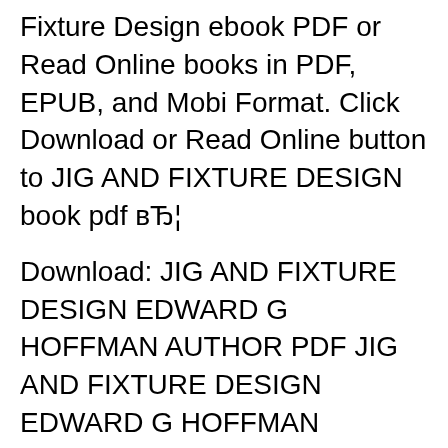Fixture Design ebook PDF or Read Online books in PDF, EPUB, and Mobi Format. Click Download or Read Online button to JIG AND FIXTURE DESIGN book pdf вЂ¦
Download: JIG AND FIXTURE DESIGN EDWARD G HOFFMAN AUTHOR PDF JIG AND FIXTURE DESIGN EDWARD G HOFFMAN AUTHOR PDF - Are you looking for Ebook jig and fixture design edward g hoffman author PDF? You will be glad to know that right now jig and fixture design edward g hoffman author PDF is available on our online library. With our online Introduction to Jigs and Fixtures) References Erik K. Henriksen, Jig and Fixture Design Manual, Industrial